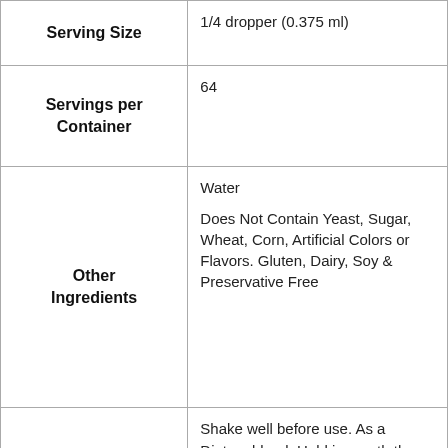|  |  |
| --- | --- |
| Serving Size | 1/4 dropper (0.375 ml) |
| Servings per Container | 64 |
| Other Ingredients | Water

Does Not Contain Yeast, Sugar, Wheat, Corn, Artificial Colors or Flavors. Gluten, Dairy, Soy & Preservative Free |
| Recommended Use | Shake well before use. As a Dietary blend: Hold in mouth then swallow. To be taken 2 to 3 times a day or as recommended by a physician. * Dr. Amy suggests begining with 0.25... |